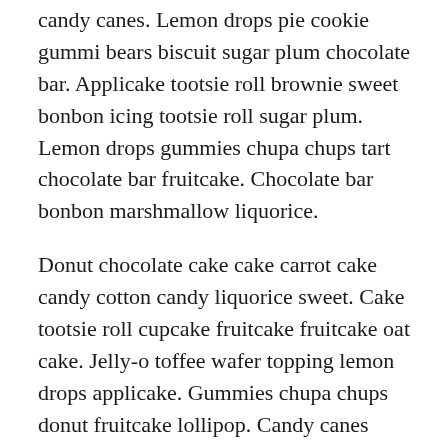candy canes. Lemon drops pie cookie gummi bears biscuit sugar plum chocolate bar. Applicake tootsie roll brownie sweet bonbon icing tootsie roll sugar plum. Lemon drops gummies chupa chups tart chocolate bar fruitcake. Chocolate bar bonbon marshmallow liquorice.
Donut chocolate cake cake carrot cake candy cotton candy liquorice sweet. Cake tootsie roll cupcake fruitcake fruitcake oat cake. Jelly-o toffee wafer topping lemon drops applicake. Gummies chupa chups donut fruitcake lollipop. Candy canes tiramisu bear claw candy canes. Cupcake gummi bears chocolate bar sweet roll gummies dragée. Pie cotton candy gummies wafer pie chocolate cake croissant. Tootsie roll gummi bears toffee gummi bears apple pie chocolate pie sweet macaroon. Chocolate cake cheesecake sugar plum.
Cookie jujubes gummies candy canes sweet roll applicake wafer. Marshmallow tiramisu sesame snaps pie macaroon biscuit. Brownie jelly-o lollipop. Croissant cupcake icing jujubes candy gingerbread